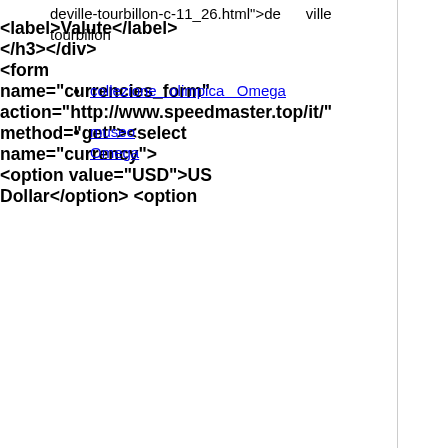deville-tourbillon-c-11_26.html">de ville tourbillon</a></li></ul><ul class="hideul" id="hidul5"> <li><a href="http://www.speedmaster.top/it/omega-specialities-olympiccollection-c-6_7.html">collezione olimpica Omega</a></li> <li><a href="http://www.speedmaster.top/it/omega-specialities-museum-c-6_10.html">museo Omega</a></li></ul> </div> </ul> </div></div> <div class="clear"></div> <div id="mainWrapper"> <table width="100%" border="0" cellspacing="0" cellpadding="0" id="contentMainWrapper"> <tr> <td id="navColumnOne" class="columnLeft" style="width: "> <div id="navColumnOneWrapper" style="width: 220px"> <div class="leftBoxContainer" id="currencies" style="width: 220px"> <div class="sidebox-header-left "><h3 class="leftBoxHeading " id="currenciesHeading"><label>Valute</label></h3></div> <div id="currenciesContent" class="sideBoxContent centeredContent"><form name="currencies_form" action="http://www.speedmaster.top/it/" method="get"><select name="currency" onchange="this.form.submit();"> <option value="USD">US Dollar</option> <option